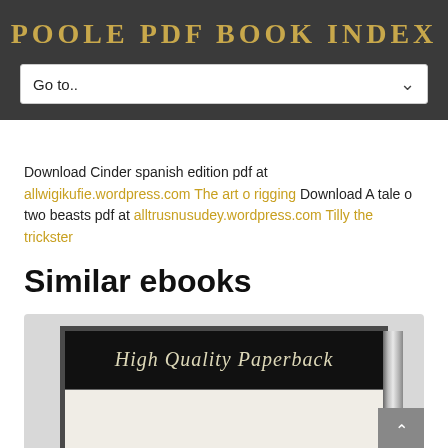POOLE PDF BOOK INDEX
Download Cinder spanish edition pdf at allwigikufie.wordpress.com The art o rigging Download A tale o two beasts pdf at alltrusnusudey.wordpress.com Tilly the trickster
Similar ebooks
[Figure (illustration): Book cover thumbnail showing 'High Quality Paperback' text on a dark banner with a white content area below, displayed inside a dark bordered frame with a gradient spine on the right side]